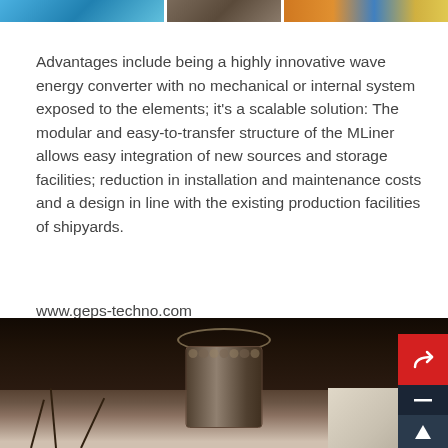[Figure (photo): Three partial photos at top: ocean/water (blue), close-up texture (brown), and orange/blue abstract]
Advantages include being a highly innovative wave energy converter with no mechanical or internal system exposed to the elements; it's a scalable solution: The modular and easy-to-transfer structure of the MLiner allows easy integration of new sources and storage facilities; reduction in installation and maintenance costs and a design in line with the existing production facilities of shipyards.
www.geps-techno.com
[Figure (photo): Dark interior architectural photo showing what appears to be a chandelier or cylindrical lattice structure suspended from a dark ceiling]